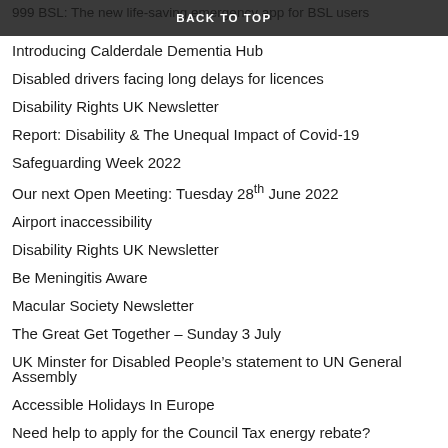BACK TO TOP
999 BSL: The new life-saving emergency app for BSL users
Introducing Calderdale Dementia Hub
Disabled drivers facing long delays for licences
Disability Rights UK Newsletter
Report: Disability & The Unequal Impact of Covid-19
Safeguarding Week 2022
Our next Open Meeting: Tuesday 28th June 2022
Airport inaccessibility
Disability Rights UK Newsletter
Be Meningitis Aware
Macular Society Newsletter
The Great Get Together – Sunday 3 July
UK Minster for Disabled People's statement to UN General Assembly
Accessible Holidays In Europe
Need help to apply for the Council Tax energy rebate?
Lift someone out of loneliness
Queen's Award For Disability Support Calderdale